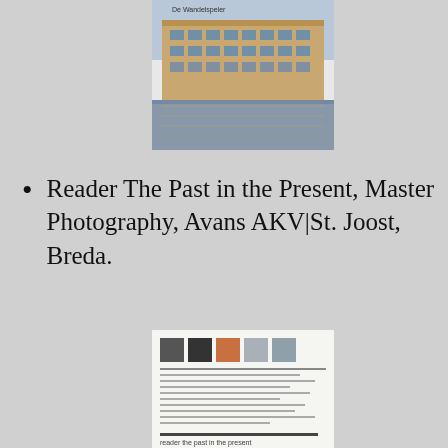[Figure (photo): Book cover showing a building reflected in water, with 'De Wandelspeler' text at top]
Reader The Past in the Present, Master Photography, Avans AKV|St. Joost, Breda.
[Figure (photo): Book/reader cover for 'reader the past in the present' showing small thumbnail images and text content listing]
Questioning History; Imagining the Past in contemporary Art (2008) Rotterdam: Nai Publishers (with 18 essays by 17 authors: Jennifer Allen,